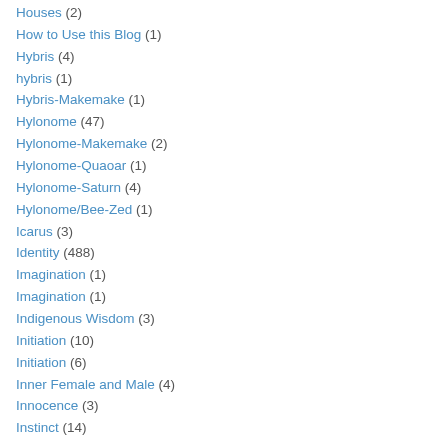Houses (2)
How to Use this Blog (1)
Hybris (4)
hybris (1)
Hybris-Makemake (1)
Hylonome (47)
Hylonome-Makemake (2)
Hylonome-Quaoar (1)
Hylonome-Saturn (4)
Hylonome/Bee-Zed (1)
Icarus (3)
Identity (488)
Imagination (1)
Imagination (1)
Indigenous Wisdom (3)
Initiation (10)
Initiation (6)
Inner Female and Male (4)
Innocence (3)
Instinct (14)